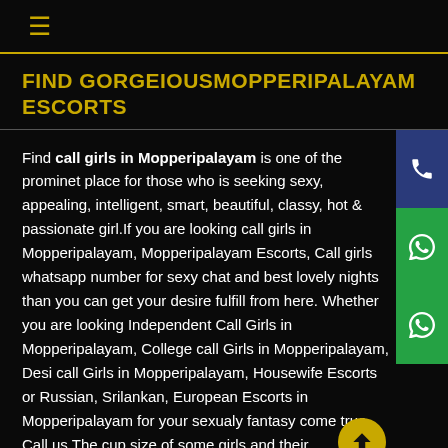≡
FIND GORGEIOUSMOPPERIPALAYAM ESCORTS
Find call girls in Mopperipalayam is one of the prominet place for those who is seeking sexy, appealing, intelligent, smart, beautiful, classy, hot & passionate girl.If you are looking call girls in Mopperipalayam, Mopperipalayam Escorts, Call girls whatsapp number for sexy chat and best lovely nights than you can get your desire fulfill from here. Whether you are looking Independent Call Girls in Mopperipalayam, College call Girls in Mopperipalayam, Desi call Girls in Mopperipalayam, Housewife Escorts or Russian, Srilankan, European Escorts in Mopperipalayam for your sexualy fantasy come true. Call us The cup size of some girls and their